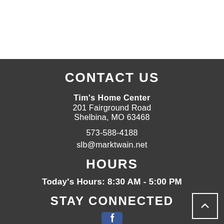CONTACT US
Tim's Home Center
201 Fairground Road
Shelbina, MO 63468
573-588-4188
slb@marktwain.net
HOURS
Today's Hours: 8:30 AM - 5:00 PM
STAY CONNECTED
[Figure (logo): Facebook logo icon in blue square]